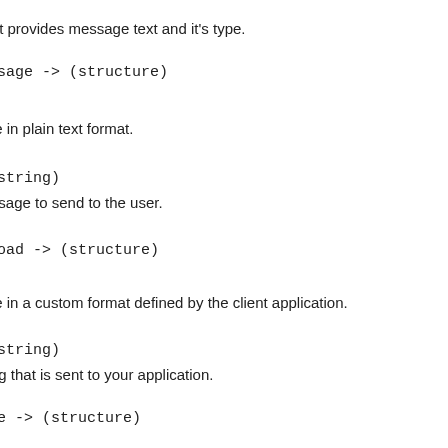t that provides message text and it's type.
Message -> (structure)
sage in plain text format.
> (string)
message to send to the user.
ayload -> (structure)
sage in a custom format defined by the client application.
> (string)
string that is sent to your application.
sage -> (structure)
sage in Speech Synthesis Markup Language (SSML).
> (string)